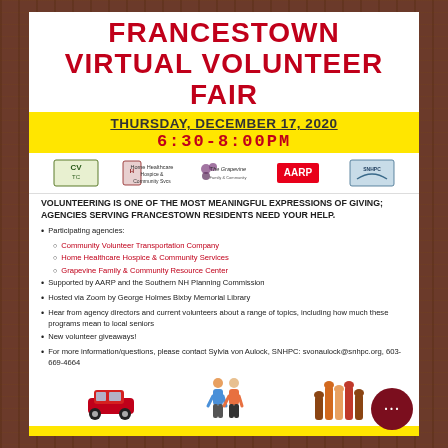FRANCESTOWN VIRTUAL VOLUNTEER FAIR
THURSDAY, DECEMBER 17, 2020
6:30-8:00PM
[Figure (logo): Logos: CVTC, Home Healthcare Hospice & Community Services, The Grapevine, AARP, SNHPC]
VOLUNTEERING IS ONE OF THE MOST MEANINGFUL EXPRESSIONS OF GIVING; AGENCIES SERVING FRANCESTOWN RESIDENTS NEED YOUR HELP.
Participating agencies:
Community Volunteer Transportation Company
Home Healthcare Hospice & Community Services
Grapevine Family & Community Resource Center
Supported by AARP and the Southern NH Planning Commission
Hosted via Zoom by George Holmes Bixby Memorial Library
Hear from agency directors and current volunteers about a range of topics, including how much these programs mean to local seniors
New volunteer giveaways!
For more information/questions, please contact Sylvia von Aulock, SNHPC: svonaulock@snhpc.org, 603-669-4664
[Figure (illustration): Three icons: red car, two seniors, raised hands]
TO REGISTER: HTTPS://TINYURL.COM/FRANCESTOWN-VVF-